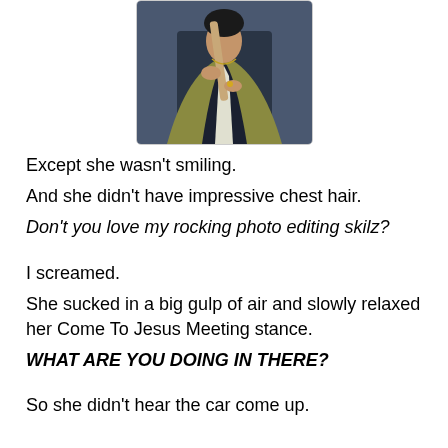[Figure (photo): Person in a gold/olive jacket holding a staff or stick, cropped image showing torso and hands, dark blue-grey background]
Except she wasn't smiling.
And she didn't have impressive chest hair.
Don't you love my rocking photo editing skilz?
I screamed.
She sucked in a big gulp of air and slowly relaxed her Come To Jesus Meeting stance.
WHAT ARE YOU DOING IN THERE?
So she didn't hear the car come up.